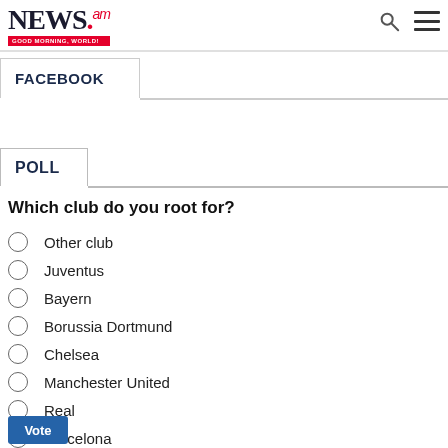NEWS.am — GOOD MORNING, WORLD!
FACEBOOK
POLL
Which club do you root for?
Other club
Juventus
Bayern
Borussia Dortmund
Chelsea
Manchester United
Real
Barcelona
Vote